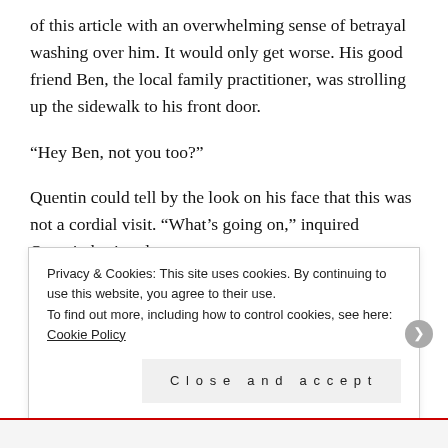of this article with an overwhelming sense of betrayal washing over him. It would only get worse. His good friend Ben, the local family practitioner, was strolling up the sidewalk to his front door.
“Hey Ben, not you too?”
Quentin could tell by the look on his face that this was not a cordial visit. “What’s going on,” inquired Quentin hesitantly.
Privacy & Cookies: This site uses cookies. By continuing to use this website, you agree to their use.
To find out more, including how to control cookies, see here: Cookie Policy
Close and accept